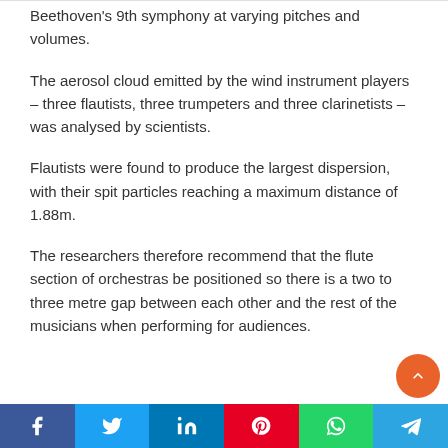Beethoven's 9th symphony at varying pitches and volumes.
The aerosol cloud emitted by the wind instrument players – three flautists, three trumpeters and three clarinetists – was analysed by scientists.
Flautists were found to produce the largest dispersion, with their spit particles reaching a maximum distance of 1.88m.
The researchers therefore recommend that the flute section of orchestras be positioned so there is a two to three metre gap between each other and the rest of the musicians when performing for audiences.
Share buttons: Facebook, Twitter, LinkedIn, Pinterest, WhatsApp, Telegram